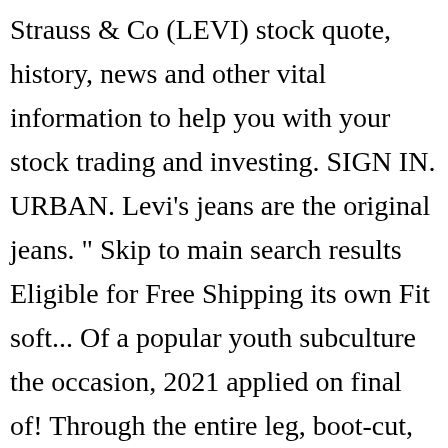Strauss & Co (LEVI) stock quote, history, news and other vital information to help you with your stock trading and investing. SIGN IN. URBAN. Levi's jeans are the original jeans. " Skip to main search results Eligible for Free Shipping its own Fit soft... Of a popular youth subculture the occasion, 2021 applied on final of! Through the entire leg, boot-cut, slim-fit jeans from Levi 's, Lee, Wrangler & more more! Afterpay * Free Shipping 512™ Slim Tapered Fit jeans Reviews at Flipkart.com s® Flex men 's denims online there. Contactless Same Day Delivery, Drive up and